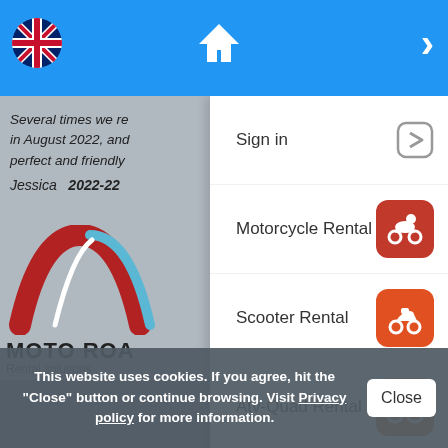[Figure (screenshot): Mobile app navigation menu for Moto Road rental website showing a blue header bar with UK flag, home icon, and right arrow. Background shows review text and Moto Road logo. Menu panel overlays with Sign in, Motorcycle Rental, Scooter Rental, Atv-Quad Rental, and Bicycle Rental options with colored icons.]
Sign in
Motorcycle Rental
Scooter Rental
Atv-Quad Rental
Bicycle Rental
This website uses cookies. If you agree, hit the "Close" button or continue browsing. Visit Privacy policy for more information.